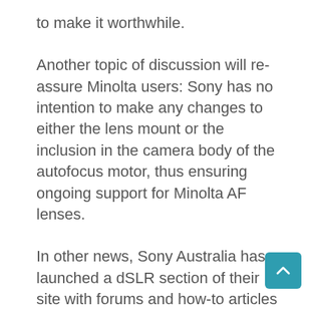to make it worthwhile.
Another topic of discussion will re-assure Minolta users: Sony has no intention to make any changes to either the lens mount or the inclusion in the camera body of the autofocus motor, thus ensuring ongoing support for Minolta AF lenses.
In other news, Sony Australia has launched a dSLR section of their site with forums and how-to articles for alpha users: http://dslr.sony.com.au/SonyAlpha/
I came out of the meeting convinced that we are about to see some significant moves from Sony and some most interesting products. Certainly the A200, A350 and A700 look the part and offer